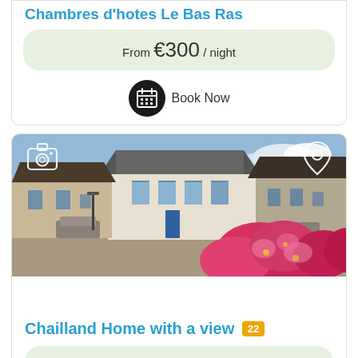Chambres d'hotes Le Bas Ras
From €300 / night
Book Now
[Figure (photo): Photograph of a French village square featuring a white building with blue shutters, stone planters, blue sky, and pink flowers in the foreground. Camera and location pin icons overlay the top corners.]
Chailland Home with a view 22
From €298 / night
Book Now